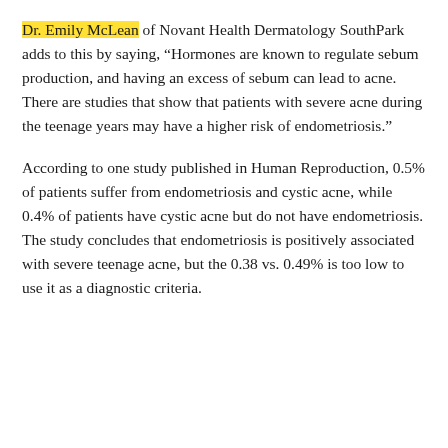Dr. Emily McLean of Novant Health Dermatology SouthPark adds to this by saying, “Hormones are known to regulate sebum production, and having an excess of sebum can lead to acne. There are studies that show that patients with severe acne during the teenage years may have a higher risk of endometriosis.”
According to one study published in Human Reproduction, 0.5% of patients suffer from endometriosis and cystic acne, while 0.4% of patients have cystic acne but do not have endometriosis. The study concludes that endometriosis is positively associated with severe teenage acne, but the 0.38 vs. 0.49% is too low to use it as a diagnostic criteria.